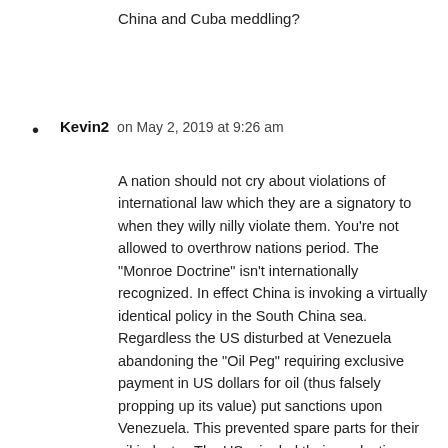China and Cuba meddling?
Kevin2 on May 2, 2019 at 9:26 am
A nation should not cry about violations of international law which they are a signatory to when they willy nilly violate them. You’re not allowed to overthrow nations period. The “Monroe Doctrine” isn’t internationally recognized. In effect China is invoking a virtually identical policy in the South China sea. Regardless the US disturbed at Venezuela abandoning the “Oil Peg” requiring exclusive payment in US dollars for oil (thus falsely propping up its value) put sanctions upon Venezuela. This prevented spare parts for their oil industry. The US crippled their production. Russia provided equipment and technical supply at Venezuelas request. China